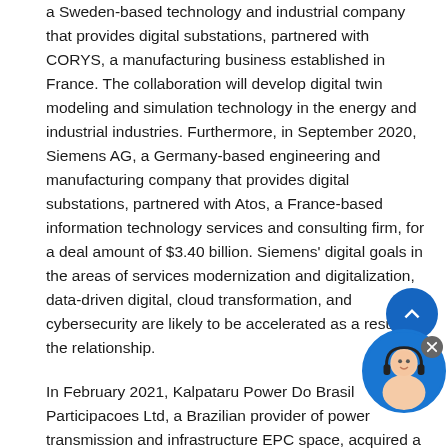a Sweden-based technology and industrial company that provides digital substations, partnered with CORYS, a manufacturing business established in France. The collaboration will develop digital twin modeling and simulation technology in the energy and industrial industries. Furthermore, in September 2020, Siemens AG, a Germany-based engineering and manufacturing company that provides digital substations, partnered with Atos, a France-based information technology services and consulting firm, for a deal amount of $3.40 billion. Siemens' digital goals in the areas of services modernization and digitalization, data-driven digital, cloud transformation, and cybersecurity are likely to be accelerated as a result of the relationship.
In February 2021, Kalpataru Power Do Brasil Participacoes Ltd, a Brazilian provider of power transmission and infrastructure EPC space, acquired a 51% stake in Fasttel Engenharia Ltd for an $8.8 million. The acquisition allows Kalpataru Power to capitalize on the opportunity in Brazil and to grow its position in the Latin American market. Fasttel Engenharia is a Brazilian that specializes in the engineering, procurement, construction,